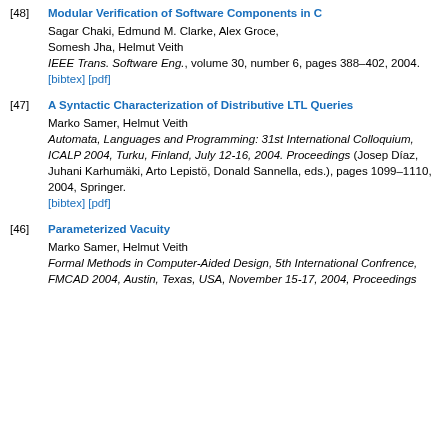[48] Modular Verification of Software Components in C. Sagar Chaki, Edmund M. Clarke, Alex Groce, Somesh Jha, Helmut Veith. IEEE Trans. Software Eng., volume 30, number 6, pages 388–402, 2004. [bibtex] [pdf]
[47] A Syntactic Characterization of Distributive LTL Queries. Marko Samer, Helmut Veith. Automata, Languages and Programming: 31st International Colloquium, ICALP 2004, Turku, Finland, July 12-16, 2004. Proceedings (Josep Díaz, Juhani Karhumäki, Arto Lepistö, Donald Sannella, eds.), pages 1099–1110, 2004, Springer. [bibtex] [pdf]
[46] Parameterized Vacuity. Marko Samer, Helmut Veith. Formal Methods in Computer-Aided Design, 5th International Confrence, FMCAD 2004, Austin, Texas, USA, November 15-17, 2004, Proceedings